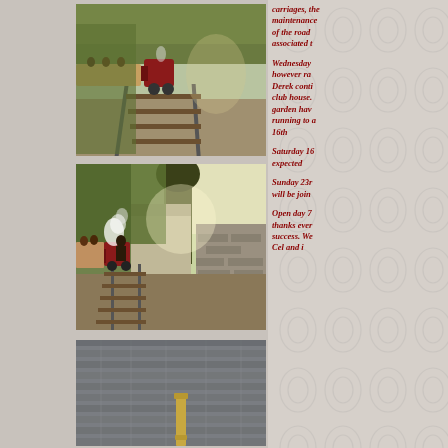[Figure (photo): Small steam train with red locomotive pulling carriages along narrow gauge track through wooded garden area, with people visible on train]
[Figure (photo): Steam train with passengers being pulled by small locomotive through wooded area past stone building, steam visible]
[Figure (photo): Grey wooden shed or building exterior with a brass or metal post/pillar visible]
carriages, the maintenance of the road associated t
Wednesday however ra Derek conti club house. garden hav running to 16th
Saturday 16 expected
Sunday 23r will be join
Open day 7 thanks ever success. We Cel and i